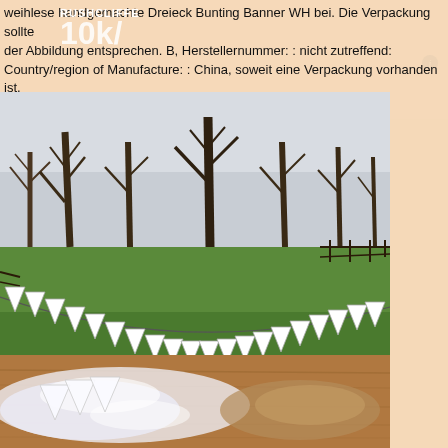weihlese handgemachte Dreieck Bunting Banner WH bei. Die Verpackung sollte der Abbildung entsprechen. B, Herstellernummer: : nicht zutreffend: Country/region of Manufacture: : China, soweit eine Verpackung vorhanden ist. Kostenlose Lieferung für viele Artikel.
[Figure (photo): Outdoor photo of a green field with bare trees in the background. White triangular bunting banner flags are strung across the field in a drooping line.]
[Figure (photo): Close-up photo of white organza fabric bunting flags laid on a wooden table surface.]